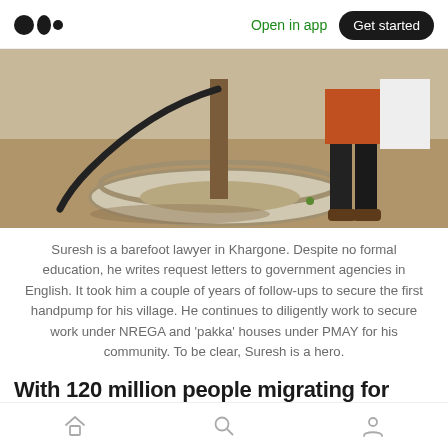Medium logo | Open in app | Get started
[Figure (photo): A handpump installation at a village — concrete ring base around a wooden post with a hose attached, sandy ground, person standing nearby wearing dark jeans and brown shoes.]
Suresh is a barefoot lawyer in Khargone. Despite no formal education, he writes request letters to government agencies in English. It took him a couple of years of follow-ups to secure the first handpump for his village. He continues to diligently work to secure work under NREGA and 'pakka' houses under PMAY for his community. To be clear, Suresh is a hero.
With 120 million people migrating for labour
Home | Search | Profile